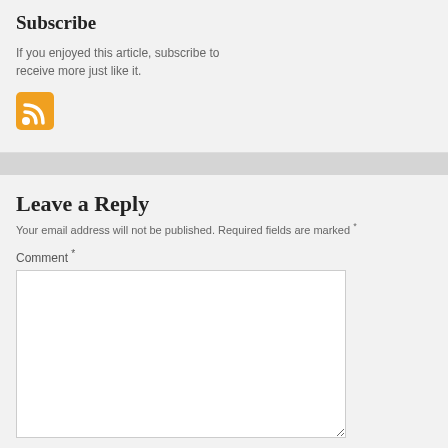Subscribe
If you enjoyed this article, subscribe to receive more just like it.
[Figure (illustration): RSS feed icon — orange square with white RSS signal waves symbol]
Leave a Reply
Your email address will not be published. Required fields are marked *
Comment *
Anti-spam*
Anti-spam word